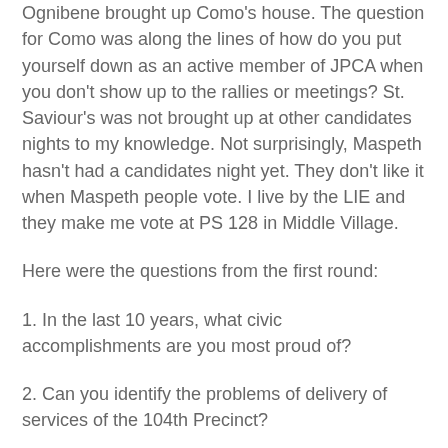Ognibene brought up Como's house. The question for Como was along the lines of how do you put yourself down as an active member of JPCA when you don't show up to the rallies or meetings? St. Saviour's was not brought up at other candidates nights to my knowledge. Not surprisingly, Maspeth hasn't had a candidates night yet. They don't like it when Maspeth people vote. I live by the LIE and they make me vote at PS 128 in Middle Village.
Here were the questions from the first round:
1. In the last 10 years, what civic accomplishments are you most proud of?
2. Can you identify the problems of delivery of services of the 104th Precinct?
3. Would you fully fund the reconstruction and restoration of St. Saviour's ?
4. What is your position on Cross Harbor and how